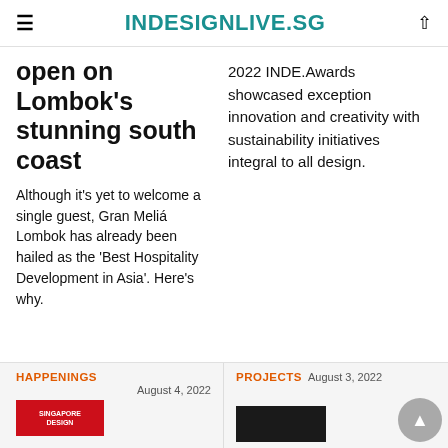INDESIGNLIVE.SG
open on Lombok's stunning south coast
Although it's yet to welcome a single guest, Gran Meliá Lombok has already been hailed as the 'Best Hospitality Development in Asia'. Here's why.
2022 INDE.Awards showcased exception innovation and creativity with sustainability initiatives integral to all design.
HAPPENINGS
August 4, 2022
PROJECTS
August 3, 2022
[Figure (logo): Singapore Design red and white logo]
[Figure (photo): Dark/black design object close-up]